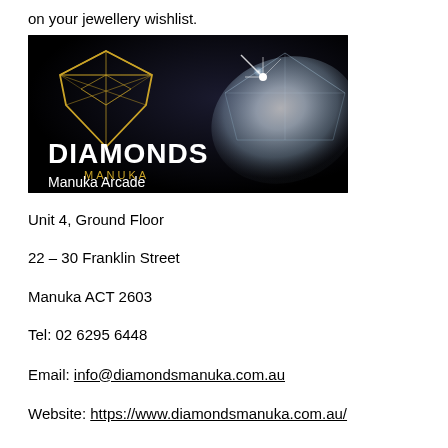on your jewellery wishlist.
[Figure (logo): Diamonds Manuka advertisement banner with dark background, gold diamond logo, white text 'DIAMONDS MANUKA' and 'Manuka Arcade', with sparkling diamond gemstone image on the right.]
Unit 4, Ground Floor
22 – 30 Franklin Street
Manuka ACT 2603
Tel: 02 6295 6448
Email: info@diamondsmanuka.com.au
Website: https://www.diamondsmanuka.com.au/